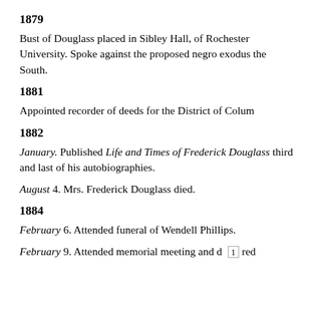1879
Bust of Douglass placed in Sibley Hall, of Rochester University. Spoke against the proposed negro exodus the South.
1881
Appointed recorder of deeds for the District of Colum
1882
January. Published Life and Times of Frederick Douglass third and last of his autobiographies.
August 4. Mrs. Frederick Douglass died.
1884
February 6. Attended funeral of Wendell Phillips.
February 9. Attended memorial meeting and d 1 red